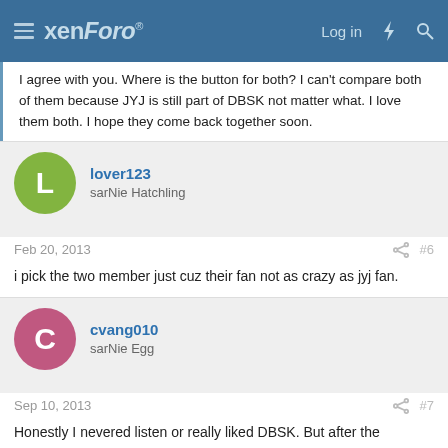xenForo — Log in
I agree with you. Where is the button for both? I can't compare both of them because JYJ is still part of DBSK not matter what. I love them both. I hope they come back together soon.
lover123
sarNie Hatchling
Feb 20, 2013  #6
i pick the two member just cuz their fan not as crazy as jyj fan.
cvang010
sarNie Egg
Sep 10, 2013  #7
Honestly I nevered listen or really liked DBSK. But after the